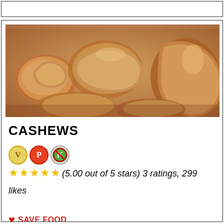[Figure (photo): Close-up photo of roasted cashew nuts, showing their curved kidney shapes in warm golden-brown tones.]
CASHEWS
[Figure (infographic): Three circular badges: V (vata, yellow/gold), P (pitta, red/orange), K (kapha, green with strikethrough/no symbol)]
★★★★★(5.00 out of 5 stars) 3 ratings, 299 likes
♥ SAVE FOOD